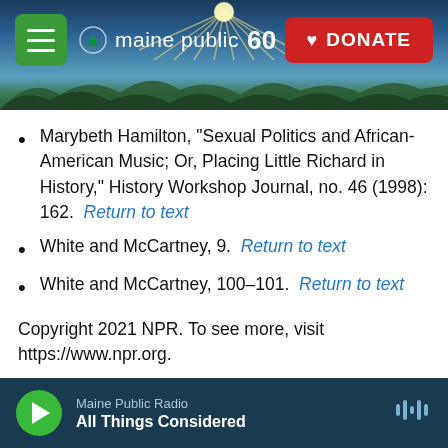[Figure (screenshot): Maine Public Radio website header with navigation bar showing hamburger menu, Maine Public 60 logo, and a red DONATE button. Landscape/sunset background image.]
Marybeth Hamilton, "Sexual Politics and African-American Music; Or, Placing Little Richard in History," History Workshop Journal, no. 46 (1998): 162. Return to text
White and McCartney, 9. Return to text
White and McCartney, 100–101. Return to text
Copyright 2021 NPR. To see more, visit https://www.npr.org.
NPR News
Maine Public Radio — All Things Considered